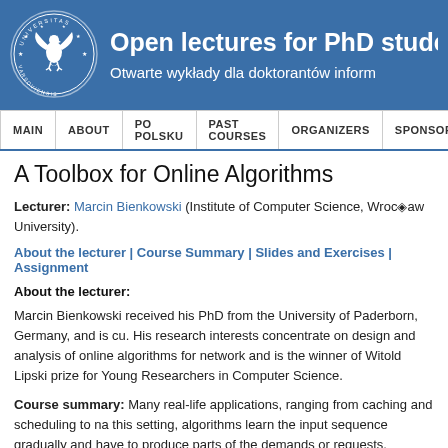[Figure (logo): University of Warsaw (Universitas Varsoviensis) circular seal/logo with eagle, white on blue background]
Open lectures for PhD studen
Otwarte wykłady dla doktorantów inform
MAIN | ABOUT | PO POLSKU | PAST COURSES | ORGANIZERS | SPONSORS
A Toolbox for Online Algorithms
Lecturer: Marcin Bienkowski (Institute of Computer Science, Wrocław University).
About the lecturer | Course Summary | Slides and Exercises | Assignment
About the lecturer:
Marcin Bienkowski received his PhD from the University of Paderborn, Germany, and is cu. His research interests concentrate on design and analysis of online algorithms for network and is the winner of Witold Lipski prize for Young Researchers in Computer Science.
Course summary: Many real-life applications, ranging from caching and scheduling to na this setting, algorithms learn the input sequence gradually and have to produce parts of the demands or requests. Theoreticians usually measure the performance of such solutions by (which knows the whole input in advance). Despite its deficiencies, in the last 25 years, thi